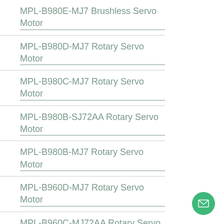MPL-B980E-MJ7 Brushless Servo Motor
MPL-B980D-MJ7 Rotary Servo Motor
MPL-B980C-MJ7 Rotary Servo Motor
MPL-B980B-SJ72AA Rotary Servo Motor
MPL-B980B-MJ7 Rotary Servo Motor
MPL-B960D-MJ7 Rotary Servo Motor
MPL-B960C-MJ72AA Rotary Servo Motor
MPL-B960B-SJ72AA Rotary Servo Motor
MPL-B960B-MJ7 Rotary Servo Motor